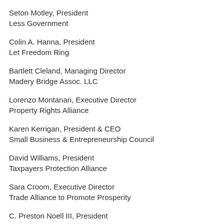Seton Motley, President
Less Government
Colin A. Hanna, President
Let Freedom Ring
Bartlett Cleland, Managing Director
Madery Bridge Assoc. LLC
Lorenzo Montanari, Executive Director
Property Rights Alliance
Karen Kerrigan, President & CEO
Small Business & Entrepreneurship Council
David Williams, President
Taxpayers Protection Alliance
Sara Croom, Executive Director
Trade Alliance to Promote Prosperity
C. Preston Noell III, President